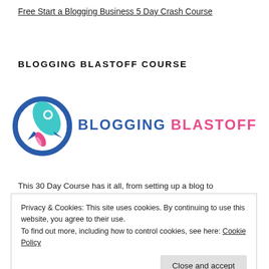Free Start a Blogging Business 5 Day Crash Course
BLOGGING BLASTOFF COURSE
[Figure (logo): Blogging Blastoff logo: a rocket icon in teal/blue circle with pink flame, beside bold text 'BLOGGING BLASTOFF' in blue and pink.]
This 30 Day Course has it all, from setting up a blog to
Privacy & Cookies: This site uses cookies. By continuing to use this website, you agree to their use.
To find out more, including how to control cookies, see here: Cookie Policy
Close and accept